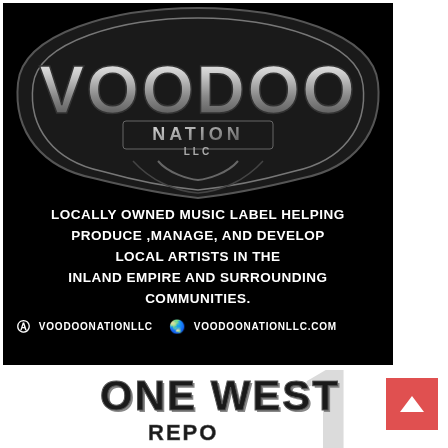[Figure (logo): Voodoo Nation LLC advertisement on black background. Features the stylized 'VOODOO NATION LLC' logo at the top in silver/chrome 3D lettering. Below the logo text reads: 'LOCALLY OWNED MUSIC LABEL HELPING PRODUCE ,MANAGE, AND DEVELOP LOCAL ARTISTS IN THE INLAND EMPIRE AND SURROUNDING COMMUNITIES.' At the bottom: Instagram icon 'VOODOONATIONLLC' and globe icon 'VOODOONATIONLLC.COM']
[Figure (logo): Partial view of 'ONE WEST' logo in large bold white/chrome lettering, with a large stylized number '1' in the background. Below appears text 'REPO' or similar. Located at the bottom portion of the page. A red square with a white upward arrow (back-to-top button) appears at the bottom right.]